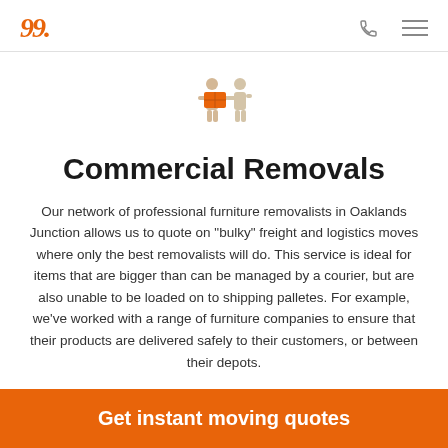Logo navigation with phone and menu icons
[Figure (illustration): Two people carrying a box illustration in orange and beige tones]
Commercial Removals
Our network of professional furniture removalists in Oaklands Junction allows us to quote on "bulky" freight and logistics moves where only the best removalists will do. This service is ideal for items that are bigger than can be managed by a courier, but are also unable to be loaded on to shipping palletes. For example, we've worked with a range of furniture companies to ensure that their products are delivered safely to their customers, or between their depots.
Get instant moving quotes